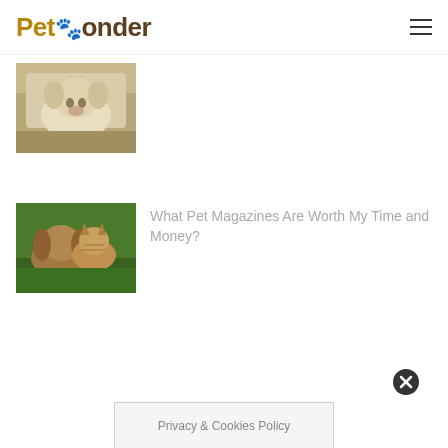PetPonder
[Figure (photo): Partially visible thumbnail of a white/cream puppy on a leash outdoors]
[Figure (photo): Thumbnail of a cat and dog together lying in green grass]
What Pet Magazines Are Worth My Time and Money?
[Figure (other): Close (X) button circle]
Privacy & Cookies Policy